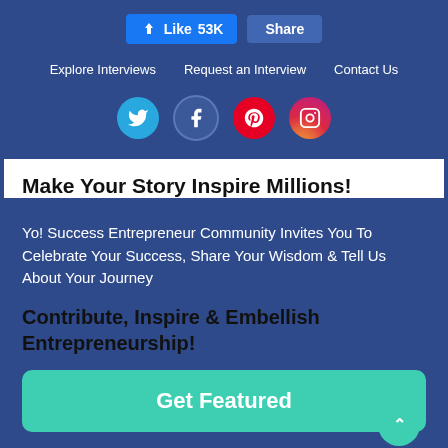[Figure (screenshot): Facebook Like (53K) and Share buttons]
Explore Interviews   Request an Interview   Contact Us
[Figure (infographic): Social media icons: Twitter, Facebook, Pinterest, Instagram]
Make Your Story Inspire Millions!
Yo! Success Entrepreneur Community Invites You To Celebrate Your Success, Share Your Wisdom & Tell Us About Your Journey
Contribute, Inspire & Embellish Entrepreneurship!
Get Featured